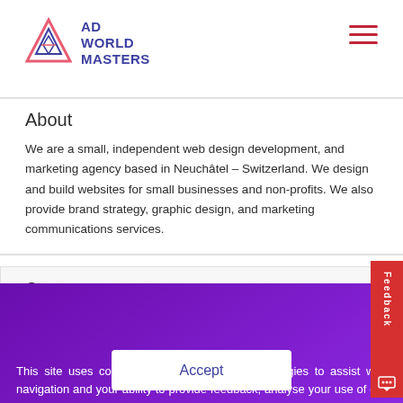AD WORLD MASTERS
About
We are a small, independent web design development, and marketing agency based in Neuchâtel – Switzerland. We design and build websites for small businesses and non-profits. We also provide brand strategy, graphic design, and marketing communications services.
[Figure (screenshot): Isometric illustration of a laptop/computer on an orange blob platform with UI elements]
Web design
Web hosting
This site uses cookies an other tracking technologies to assist with navigation and your ability to provide feedback, analyse your use of our products and services, assist with our promotional and marketing efforts.
Accept